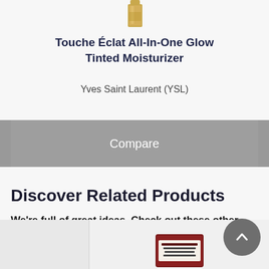[Figure (photo): Partial view of a gold cosmetic tube (YSL product) shown at the top of the card]
Touche Éclat All-In-One Glow Tinted Moisturizer
Yves Saint Laurent (YSL)
Compare
Discover Related Products
We're full of great ideas. Check out these other products:
[Figure (photo): Partial view of a cosmetic product (theBalm brand tube) visible at the bottom of the page]